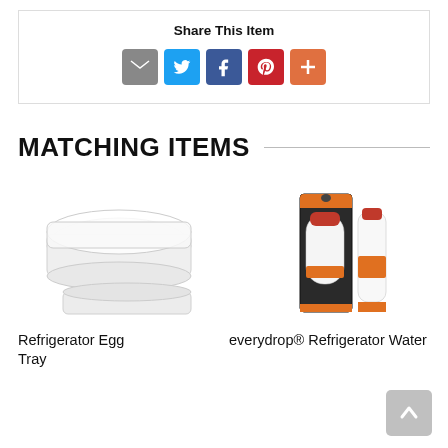Share This Item
[Figure (infographic): Social share icons: email (grey), Twitter (blue bird), Facebook (blue f), Pinterest (red P), More (orange plus)]
MATCHING ITEMS
[Figure (photo): Refrigerator Egg Tray - clear plastic tray product image]
Refrigerator Egg Tray
[Figure (photo): everydrop® Refrigerator Water Filter product image with packaging]
everydrop® Refrigerator Water